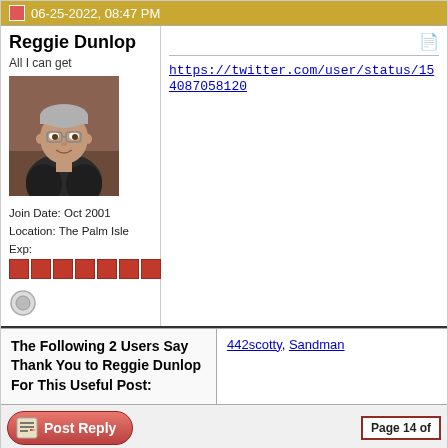06-25-2022, 08:47 PM
Reggie Dunlop
All I can get
[Figure (photo): Avatar photo of a middle-aged man in a leather jacket, smiling slightly]
Join Date: Oct 2001
Location: The Palm Isle
Exp: [red blocks x8]
https://twitter.com/user/status/154087058120
| The Following 2 Users Say Thank You to Reggie Dunlop For This Useful Post: | Users |
| --- | --- |
|  | 442scotty, Sandman |
Post Reply
Page 14 of
Tags
bakersfield is no good , chicago is no good , colorado is no good